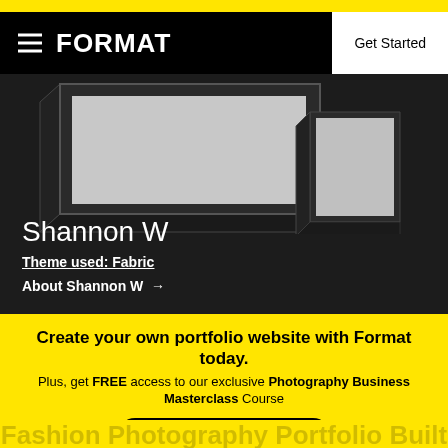FORMAT  Get Started
[Figure (screenshot): Portfolio website mockup showing dark-themed frames with grey placeholder image areas, representing Shannon W's Fabric theme portfolio]
Shannon W
Theme used: Fabric
About Shannon W →
Create your own portfolio website with Format today.
Plus, get FREE access to our exclusive Photography Business Masterclass Course
Start Your Free Trial
Fashion Photography Portfolio Built